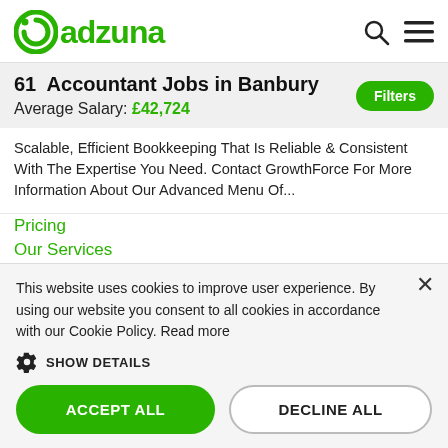adzuna
61 Accountant Jobs in Banbury
Average Salary: £42,724
Scalable, Efficient Bookkeeping That Is Reliable & Consistent With The Expertise You Need. Contact GrowthForce For More Information About Our Advanced Menu Of...
Pricing
Our Services
Team + Technology
What Our Clients Say
This website uses cookies to improve user experience. By using our website you consent to all cookies in accordance with our Cookie Policy. Read more
SHOW DETAILS
ACCEPT ALL
DECLINE ALL